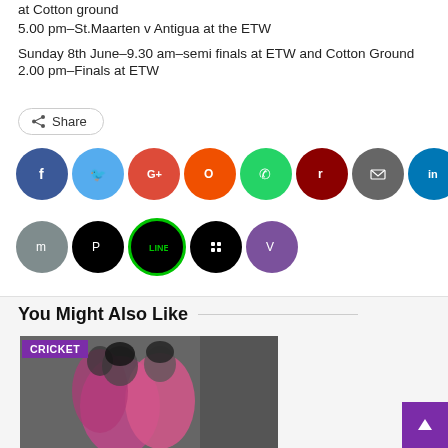at Cotton ground
5.00 pm–St.Maarten v Antigua at the ETW
Sunday 8th June–9.30 am–semi finals at ETW and Cotton Ground
2.00 pm–Finals at ETW
Share
[Figure (infographic): Row of social media sharing icons: Facebook (dark blue), Twitter (light blue), Google+ (red), Orange circle, WhatsApp (green), dark red circle, Email (gray), LinkedIn (dark blue), dark teal circle, Telegram (blue), orange circle; second row: gray/blue circle, black circle, LINE (black/green), BlackBerry (black), Viber (purple)]
You Might Also Like
[Figure (photo): Cricket: Women cricket players in pink jerseys celebrating, with a purple CRICKET badge overlay in the top left corner]